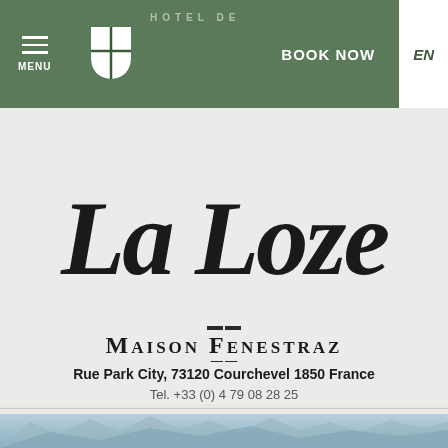MENU | HOTEL DE | BOOK NOW | EN
[Figure (logo): La Loze hotel script logo with shield emblem and 'Hôtel de' arc text]
MAISON FENESTRAZ
Rue Park City, 73120 Courchevel 1850 France
Tel. +33 (0) 4 79 08 28 25
DÉCOUVREZ NOS AUTRES MAISONS
[Figure (photo): Mountain landscape photo strip at bottom of page]